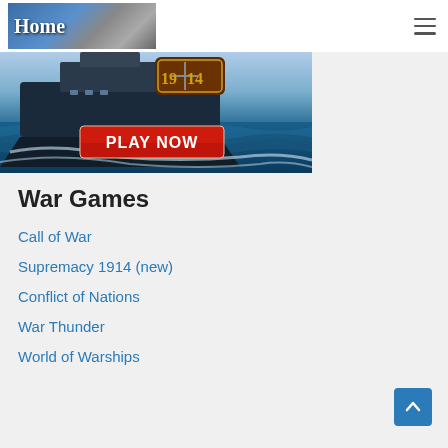Home
[Figure (screenshot): War game promotional banner showing a warship at sea with text '1914' and a red 'PLAY NOW' button]
War Games
Call of War
Supremacy 1914 (new)
Conflict of Nations
War Thunder
World of Warships